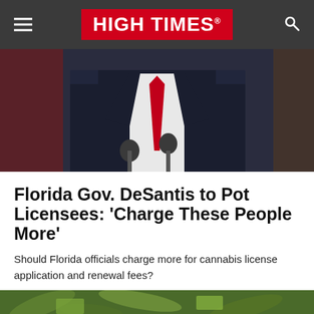HIGH TIMES
[Figure (photo): A man in a dark navy suit with a red tie standing at a podium with microphones, torso and lower face visible only.]
Florida Gov. DeSantis to Pot Licensees: ‘Charge These People More’
Should Florida officials charge more for cannabis license application and renewal fees?
[Figure (photo): Close-up photo of green cannabis leaves and dollar bills.]
52 Share [Facebook] [Twitter] [LinkedIn] [Reddit]